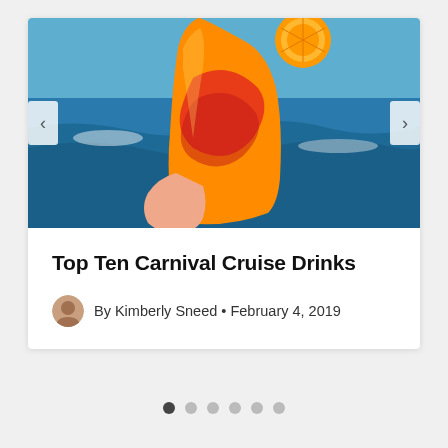[Figure (photo): A hand with red nail polish holding an orange tropical cocktail drink garnished with an orange slice, with ocean waves in the background. A carousel card with left and right arrow navigation buttons.]
Top Ten Carnival Cruise Drinks
By Kimberly Sneed • February 4, 2019